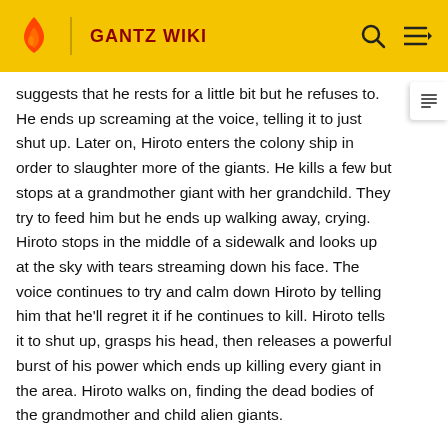GANTZ WIKI
suggests that he rests for a little bit but he refuses to. He ends up screaming at the voice, telling it to just shut up. Later on, Hiroto enters the colony ship in order to slaughter more of the giants. He kills a few but stops at a grandmother giant with her grandchild. They try to feed him but he ends up walking away, crying. Hiroto stops in the middle of a sidewalk and looks up at the sky with tears streaming down his face. The voice continues to try and calm down Hiroto by telling him that he'll regret it if he continues to kill. Hiroto tells it to shut up, grasps his head, then releases a powerful burst of his power which ends up killing every giant in the area. Hiroto walks on, finding the dead bodies of the grandmother and child alien giants.